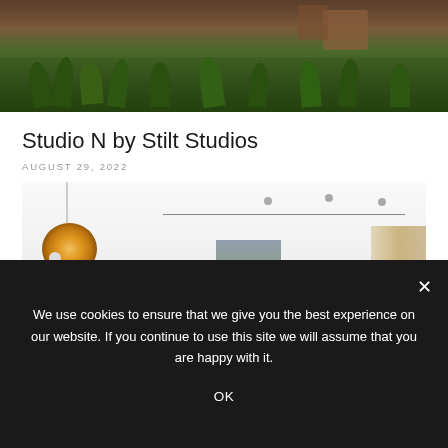[Figure (photo): Top portion of an outdoor/garden scene with wooden decking, tropical plants and foliage]
Studio N by Stilt Studios
AUGUST 29, 2022
[Figure (photo): Interior of Studio N showing a modern room with pendant light featuring amber/orange glass shade, track lighting on white ceiling, an abstract artwork panel on the wall, indoor plants, and curtains]
We use cookies to ensure that we give you the best experience on our website. If you continue to use this site we will assume that you are happy with it.
OK